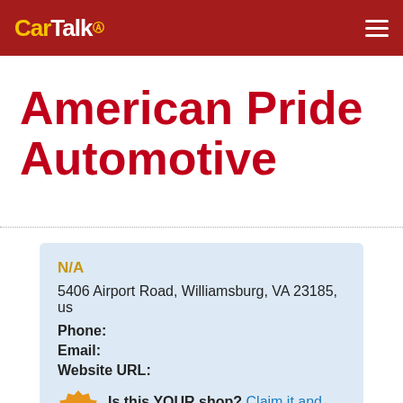CarTalk
American Pride Automotive
N/A
5406 Airport Road, Williamsburg, VA 23185, us
Phone:
Email:
Website URL:
Is this YOUR shop? Claim it and stay up to